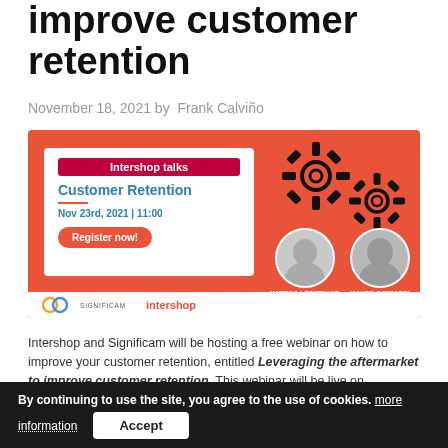improve customer retention
November 18, 2021 by Frank Calviño
[Figure (illustration): Intershop talks webinar banner: Customer Retention, Nov 23rd, 2021 | 11:00, Register now! With speakers Mattias Löpstrand (Significam) and Mauro Boffardi (Intershop). Orange background with gear decorations. Logos: Significam and intershop.]
Intershop and Significam will be hosting a free webinar on how to improve your customer retention, entitled Leveraging the aftermarket to improve customer retention. This webinar will be live on November 23.